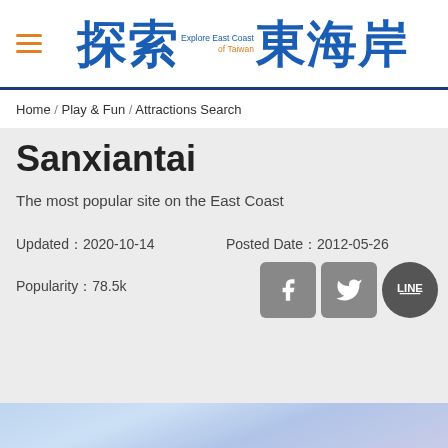探索東海岸 Explore East Coast of Taiwan
Home / Play & Fun / Attractions Search
Sanxiantai
The most popular site on the East Coast
Updated：2020-10-14
Posted Date：2012-05-26
Popularity：78.5k
[Figure (other): Social sharing buttons: Facebook, Twitter, LINE]
[Figure (photo): Blue-toned scenic image area at bottom of page]